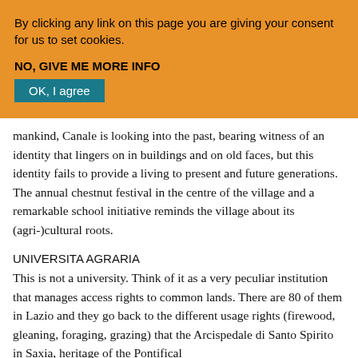By clicking any link on this page you are giving your consent for us to set cookies.
NO, GIVE ME MORE INFO
OK, I agree
mankind, Canale is looking into the past, bearing witness of an identity that lingers on in buildings and on old faces, but this identity fails to provide a living to present and future generations. The annual chestnut festival in the centre of the village and a remarkable school initiative reminds the village about its (agri-)cultural roots.
UNIVERSITA AGRARIA
This is not a university. Think of it as a very peculiar institution that manages access rights to common lands. There are 80 of them in Lazio and they go back to the different usage rights (firewood, gleaning, foraging, grazing) that the Arcispedale di Santo Spirito in Saxia, heritage of the Pontifical